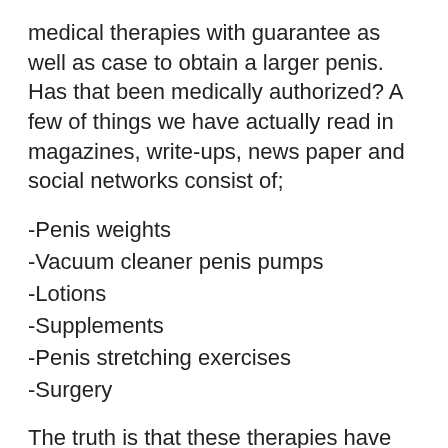medical therapies with guarantee as well as case to obtain a larger penis. Has that been medically authorized? A few of things we have actually read in magazines, write-ups, news paper and social networks consist of;
-Penis weights
-Vacuum cleaner penis pumps
-Lotions
-Supplements
-Penis stretching exercises
-Surgery
The truth is that these therapies have more bragging than outcomes. Most of them not do anything for penis enhancement. Yet some methods can boost your penis dimension, girth and also look with your self